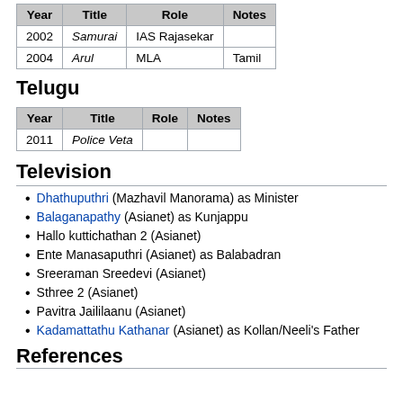| Year | Title | Role | Notes |
| --- | --- | --- | --- |
| 2002 | Samurai | IAS Rajasekar |  |
| 2004 | Arul | MLA | Tamil |
Telugu
| Year | Title | Role | Notes |
| --- | --- | --- | --- |
| 2011 | Police Veta |  |  |
Television
Dhathuputhri (Mazhavil Manorama) as Minister
Balaganapathy (Asianet) as Kunjappu
Hallo kuttichathan 2 (Asianet)
Ente Manasaputhri (Asianet) as Balabadran
Sreeraman Sreedevi (Asianet)
Sthree 2 (Asianet)
Pavitra Jaililaanu (Asianet)
Kadamattathu Kathanar (Asianet) as Kollan/Neeli's Father
References